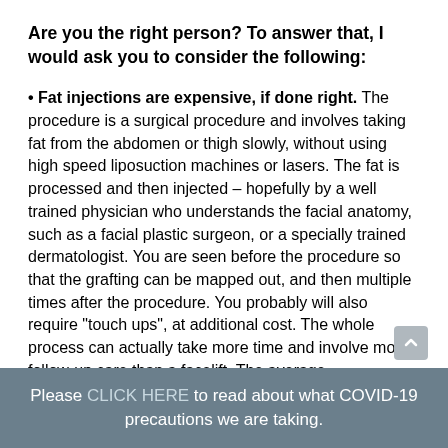Are you the right person? To answer that, I would ask you to consider the following:
Fat injections are expensive, if done right. The procedure is a surgical procedure and involves taking fat from the abdomen or thigh slowly, without using high speed liposuction machines or lasers. The fat is processed and then injected – hopefully by a well trained physician who understands the facial anatomy, such as a facial plastic surgeon, or a specially trained dermatologist. You are seen before the procedure so that the grafting can be mapped out, and then multiple times after the procedure. You probably will also require “touch ups”, at additional cost. The whole process can actually take more time and involve more follow-up care than a facelift. The average
Please CLICK HERE to read about what COVID-19 precautions we are taking.